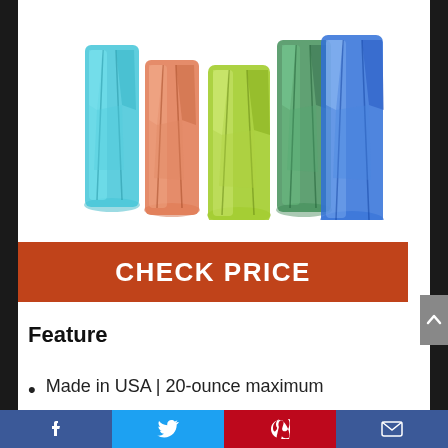[Figure (photo): Five colorful faceted acrylic drinking glasses in teal/blue, orange/red, yellow-green, and dark blue colors arranged in a fan pattern on a white background]
CHECK PRICE
Feature
Made in USA | 20-ounce maximum
Facebook | Twitter | Pinterest | Email